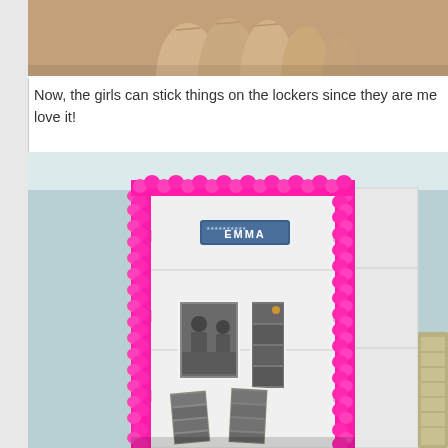[Figure (photo): Close-up of fingers holding something small, cropped at top of page]
Now, the girls can stick things on the lockers since they are me love it!
[Figure (photo): White locker decorated with hot pink fluffy trim/boa around the edges, with an EMMA name plate sticker and several photos/photo strips magneted to the door, set against a light blue/mint wall]